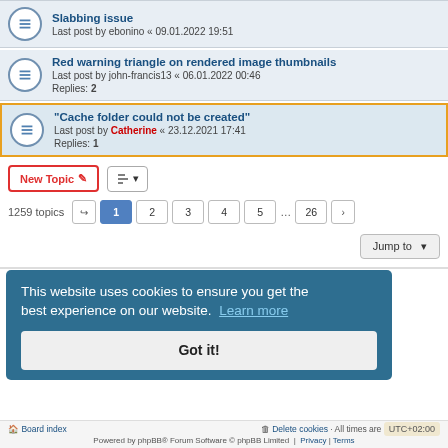Slabbing issue — Last post by ebonino « 09.01.2022 19:51
Red warning triangle on rendered image thumbnails — Last post by john-francis13 « 06.01.2022 00:46 — Replies: 2
"Cache folder could not be created" — Last post by Catherine « 23.12.2021 17:41 — Replies: 1
1259 topics  1 2 3 4 5 ... 26
FORUM PERMISSIONS
You cannot post new topics in this forum
You cannot reply to topics in this forum
You cannot edit your posts in this forum
You cannot delete your posts in this forum
You cannot post attachments in this forum
This website uses cookies to ensure you get the best experience on our website. Learn more
Board index | Delete cookies | All times are UTC+02:00 | Powered by phpBB® Forum Software © phpBB Limited | Privacy | Terms